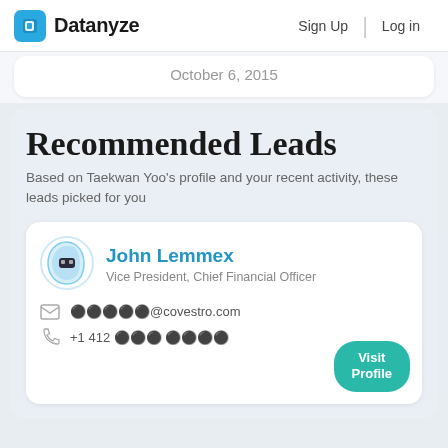Datanyze  Sign Up  Log in
October 6, 2015
Recommended Leads
Based on Taekwan Yoo's profile and your recent activity, these leads picked for you
John Lemmex
Vice President, Chief Financial Officer
●●●●●@covestro.com
+1 412 ●●● ●●●●